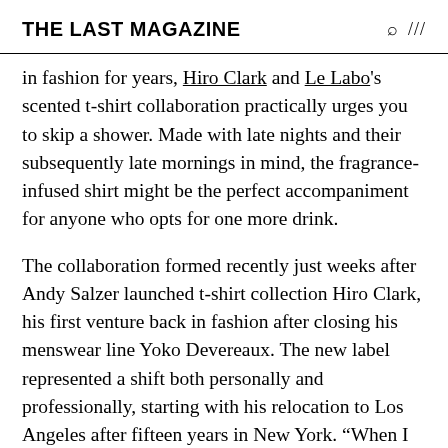THE LAST MAGAZINE
in fashion for years, Hiro Clark and Le Labo's scented t-shirt collaboration practically urges you to skip a shower. Made with late nights and their subsequently late mornings in mind, the fragrance-infused shirt might be the perfect accompaniment for anyone who opts for one more drink.

The collaboration formed recently just weeks after Andy Salzer launched t-shirt collection Hiro Clark, his first venture back in fashion after closing his menswear line Yoko Devereaux. The new label represented a shift both personally and professionally, starting with his relocation to Los Angeles after fifteen years in New York. “When I look at a city like L.A., so many people come to L.A. to do something different, to find something new about themselves,” he explains. “Everybody